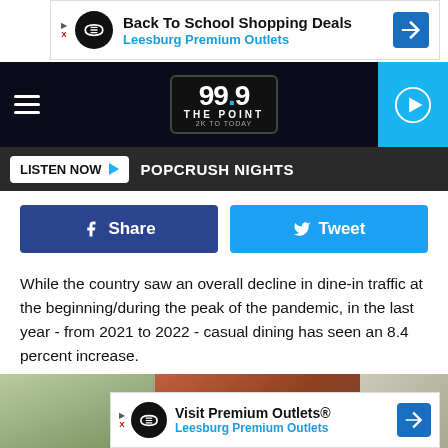[Figure (screenshot): Advertisement banner: Back To School Shopping Deals – Leesburg Premium Outlets]
[Figure (logo): 99.9 The Point radio station logo, 2K to Today, with hamburger menu and play button]
LISTEN NOW  POPCRUSH NIGHTS
[Figure (infographic): Facebook Share and Twitter Tweet buttons]
While the country saw an overall decline in dine-in traffic at the beginning/during the peak of the pandemic, in the last year - from 2021 to 2022 - casual dining has seen an 8.4 percent increase.
[Figure (photo): Restaurant dining scene photo]
[Figure (screenshot): Advertisement banner: Visit Premium Outlets® – Leesburg Premium Outlets]